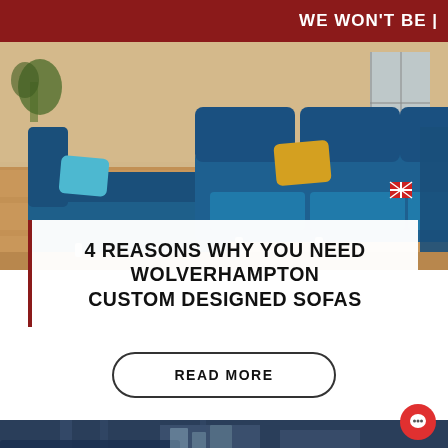WE WON'T BE
[Figure (photo): Blue velvet L-shaped sectional sofa with yellow cushions and matching armchair on wooden floor, with Union Jack badge detail]
4 REASONS WHY YOU NEED WOLVERHAMPTON CUSTOM DESIGNED SOFAS
READ MORE
[Figure (photo): Partial view of a dark blue sofa in a showroom setting with shelving in background]